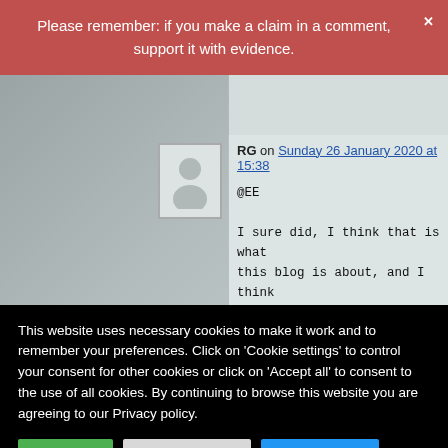Please remember: if you make a claim in a comment, support it with evidence.
RG on Sunday 26 January 2020 at 15:38

@EE

I sure did, I think that is what this blog is about, and I think that is what we are discussing .... no ?
This website uses necessary cookies to make it work and to remember your preferences. Click on 'Cookie settings' to control your consent for other cookies or click on 'Accept all' to consent to the use of all cookies. By continuing to browse this website you are agreeing to our Privacy policy.
Accept all | Cookie settings | Privacy policy